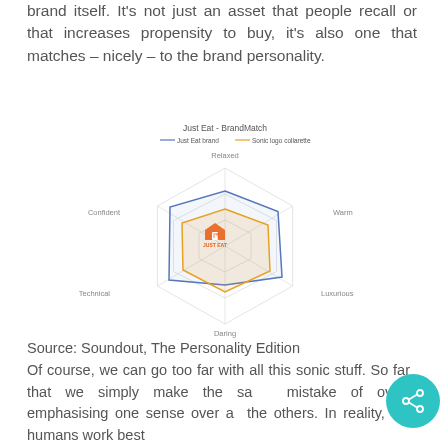brand itself. It's not just an asset that people recall or that increases propensity to buy, it's also one that matches – nicely – to the brand personality.
[Figure (radar-chart): Radar/spider chart showing Just Eat BrandMatch with axes: Relaxed, Warm, Luxurious, Daring, Technical, Confident. Three overlapping polygons: Just Eat brand (blue), Sonic logo collarette (orange/gold), and a filled lighter shape.]
Source: Soundout, The Personality Edition
Of course, we can go too far with all this sonic stuff. So far that we simply make the same mistake of over-emphasising one sense over all the others. In reality, we humans work best